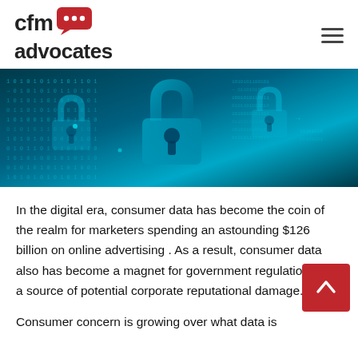cfm advocates
[Figure (photo): Digital cybersecurity themed image with binary code, padlock symbols on a blue teal background]
In the digital era, consumer data has become the coin of the realm for marketers spending an astounding $126 billion on online advertising . As a result, consumer data also has become a magnet for government regulation and a source of potential corporate reputational damage.
Consumer concern is growing over what data is